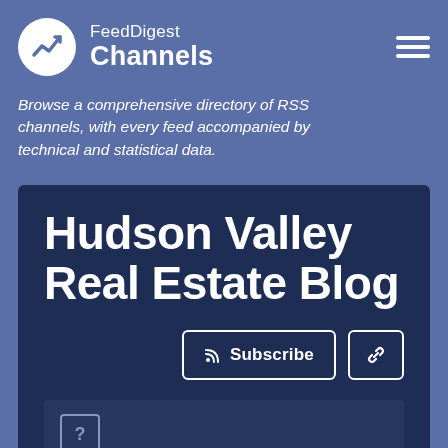FeedDigest Channels
Browse a comprehensive directory of RSS channels, with every feed accompanied by technical and statistical data.
Hudson Valley Real Estate Blog
Subscribe
CHANNEL REPUTATION RANK